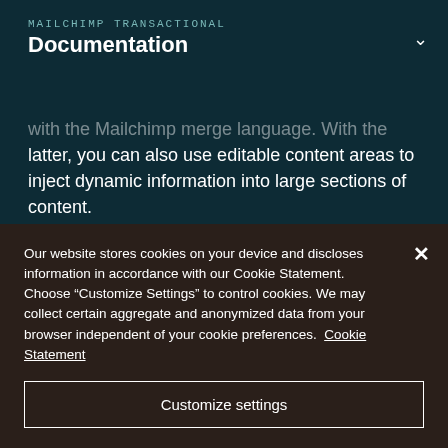MAILCHIMP TRANSACTIONAL
Documentation
with the Mailchimp merge language. With the latter, you can also use editable content areas to inject dynamic information into large sections of content.
Creating templates
Our website stores cookies on your device and discloses information in accordance with our Cookie Statement. Choose "Customize Settings" to control cookies. We may collect certain aggregate and anonymized data from your browser independent of your cookie preferences. Cookie Statement
Customize settings